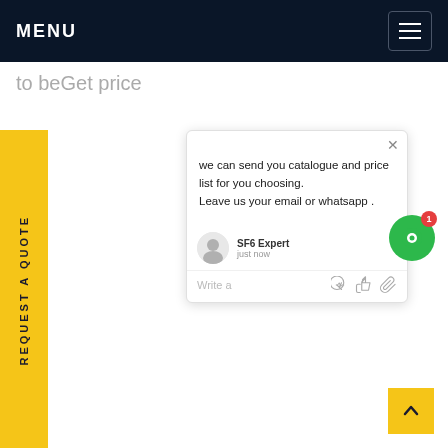MENU
to beGet price
REQUEST A QUOTE
[Figure (screenshot): Chat popup widget showing message: 'we can send you catalogue and price list for you choosing. Leave us your email or whatsapp .' with agent 'SF6 Expert' and timestamp 'just now', plus a Write a message field with thumbs up and attachment icons.]
[Figure (other): Green circular chat bubble button with badge showing '1']
[Figure (other): Yellow back-to-top arrow button]